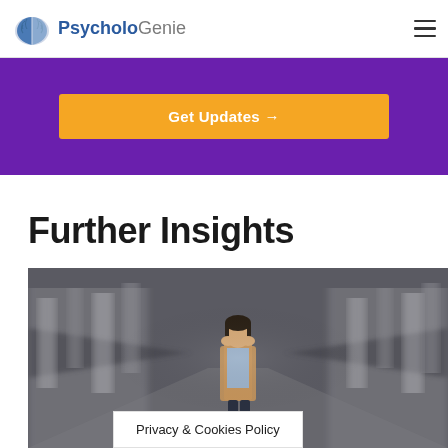PsycholoGenie
[Figure (other): Orange 'Get Updates →' button on purple background banner]
Further Insights
[Figure (photo): A woman standing in the middle of a blurred, motion-zoomed crowd of people on a busy street, looking anxious with hands covering her mouth]
Privacy & Cookies Policy